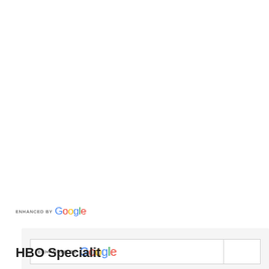[Figure (screenshot): Google enhanced search box UI widget with light gray background, containing a white search input bar with 'ENHANCED BY Google' label inside, a smaller box to the right, and extra space below.]
ENHANCED BY Google
HBO Specialit